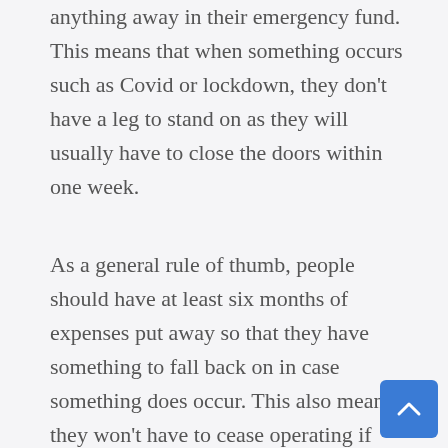anything away in their emergency fund. This means that when something occurs such as Covid or lockdown, they don't have a leg to stand on as they will usually have to close the doors within one week.
As a general rule of thumb, people should have at least six months of expenses put away so that they have something to fall back on in case something does occur. This also means they won't have to cease operating if they have an essential piece of equipment break down as they can get this repaired right away. And people can have a head start on their rainy day fund when they don't spend all of their money on something such as this right away.